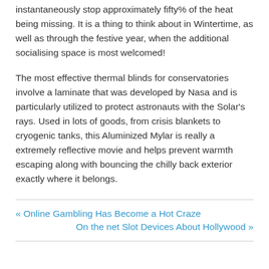instantaneously stop approximately fifty% of the heat being missing. It is a thing to think about in Wintertime, as well as through the festive year, when the additional socialising space is most welcomed!
The most effective thermal blinds for conservatories involve a laminate that was developed by Nasa and is particularly utilized to protect astronauts with the Solar's rays. Used in lots of goods, from crisis blankets to cryogenic tanks, this Aluminized Mylar is really a extremely reflective movie and helps prevent warmth escaping along with bouncing the chilly back exterior exactly where it belongs.
« Online Gambling Has Become a Hot Craze
On the net Slot Devices About Hollywood »